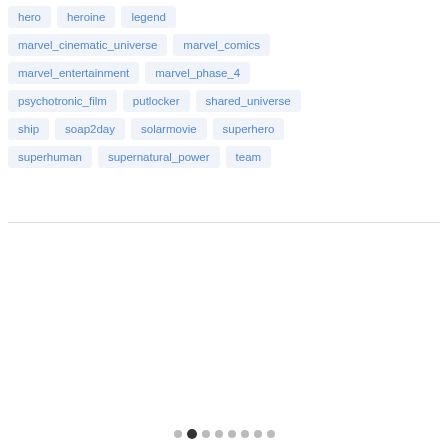hero
heroine
legend
marvel_cinematic_universe
marvel_comics
marvel_entertainment
marvel_phase_4
psychotronic_film
putlocker
shared_universe
ship
soap2day
solarmovie
superhero
superhuman
supernatural_power
team